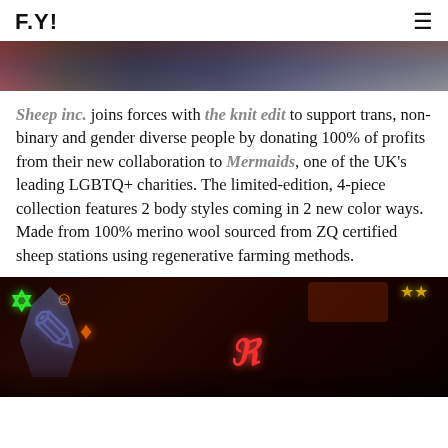F.Y!
[Figure (photo): Top portion of a photo showing people, cropped at top of page]
Sheep inc. joins forces with the knit edit to support trans, non-binary and gender diverse people by donating 100% of profits from their new collaboration to Mermaids, one of the UK's leading LGBTQ+ charities. The limited-edition, 4-piece collection features 2 body styles coming in 2 new color ways. Made from 100% merino wool sourced from ZQ certified sheep stations using regenerative farming methods.
[Figure (photo): Night scene with colorful neon signs, person in foreground wearing a costume with wing-like elements, dark background with orange, green, red and yellow neon lights]